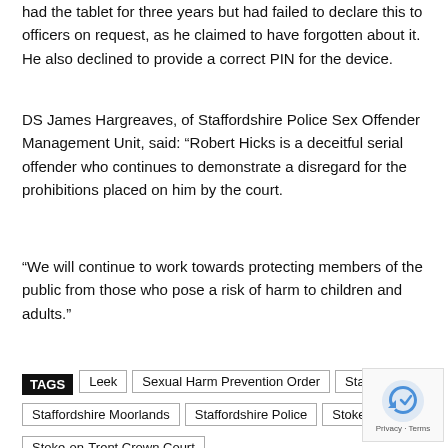had the tablet for three years but had failed to declare this to officers on request, as he claimed to have forgotten about it. He also declined to provide a correct PIN for the device.
DS James Hargreaves, of Staffordshire Police Sex Offender Management Unit, said: “Robert Hicks is a deceitful serial offender who continues to demonstrate a disregard for the prohibitions placed on him by the court.
“We will continue to work towards protecting members of the public from those who pose a risk of harm to children and adults.”
TAGS  Leek  Sexual Harm Prevention Order  Staffordshire  Staffordshire Moorlands  Staffordshire Police  Stoke-On-Trent  Stoke-on-Trent Crown Court